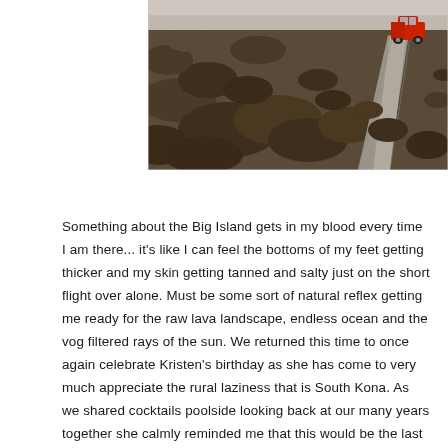[Figure (photo): A red pickup truck driving away on a narrow gravel road through a dark volcanic lava field landscape. The lava rock is rough and dark brown/black. The road curves toward the upper right corner where the red truck is visible from behind.]
Something about the Big Island gets in my blood every time I am there... it's like I can feel the bottoms of my feet getting thicker and my skin getting tanned and salty just on the short flight over alone. Must be some sort of natural reflex getting me ready for the raw lava landscape, endless ocean and the vog filtered rays of the sun. We returned this time to once again celebrate Kristen's birthday as she has come to very much appreciate the rural laziness that is South Kona. As we shared cocktails poolside looking back at our many years together she calmly reminded me that this would be the last year in